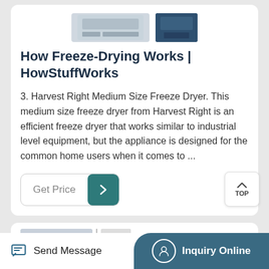[Figure (photo): Two product images of freeze dryers at top of card]
How Freeze-Drying Works | HowStuffWorks
3. Harvest Right Medium Size Freeze Dryer. This medium size freeze dryer from Harvest Right is an efficient freeze dryer that works similar to industrial level equipment, but the appliance is designed for the common home users when it comes to ...
[Figure (screenshot): Get Price button with arrow icon]
[Figure (photo): Second product card with freeze dryer images partially visible]
Send Message   Inquiry Online